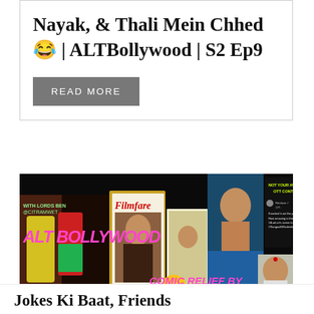Nayak, & Thali Mein Chhed 😂 | ALTBollywood | S2 Ep9
[Figure (other): READ MORE button on grey background]
[Figure (photo): Alt Bollywood promotional banner with text 'ALT BOLLYWOOD', 'NOT YOUR AVERAGE OTT CONTENT', 'COMIC RELIEF BY FEKTA KKKKAPUR' and Filmfare magazine covers and Bollywood actors]
Jokes Ki Baat, Friends